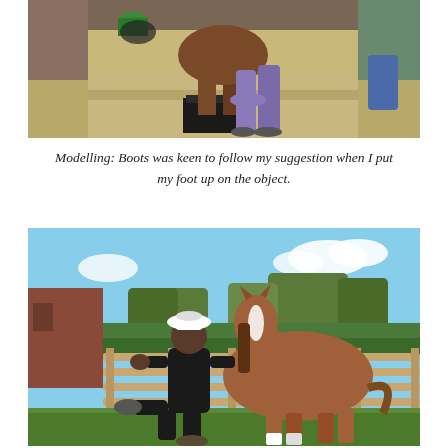[Figure (photo): A person in pink/purple pants lifting a horse's hoof onto a black block/stand, outdoors on sandy/grassy ground near a fence.]
Modelling: Boots was keen to follow my suggestion when I put my foot up on the object.
[Figure (photo): A person in black clothing and white bucket hat lifting their leg up while standing next to a chestnut horse with a white blaze, in a paddock with wooden fence and trees in the background.]